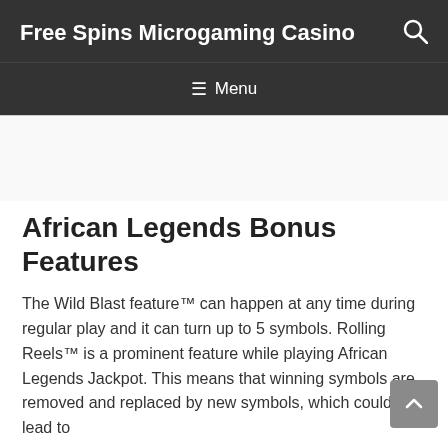Free Spins Microgaming Casino
African Legends Bonus Features
The Wild Blast feature™ can happen at any time during regular play and it can turn up to 5 symbols. Rolling Reels™ is a prominent feature while playing African Legends Jackpot. This means that winning symbols are removed and replaced by new symbols, which could lead to